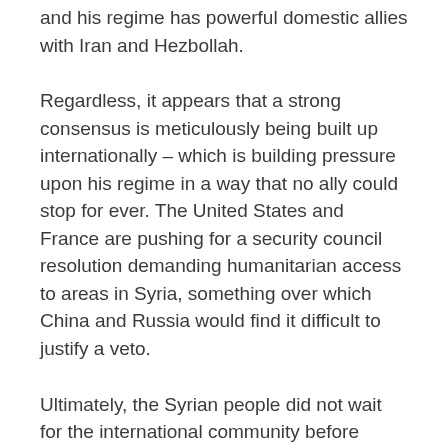and his regime has powerful domestic allies with Iran and Hezbollah.
Regardless, it appears that a strong consensus is meticulously being built up internationally – which is building pressure upon his regime in a way that no ally could stop for ever. The United States and France are pushing for a security council resolution demanding humanitarian access to areas in Syria, something over which China and Russia would find it difficult to justify a veto.
Ultimately, the Syrian people did not wait for the international community before starting their protests, and they chose to topple the regime knowing full well that a fate similar to that of Hama in 1982 could befall them. It is this determination, more than geopolitical